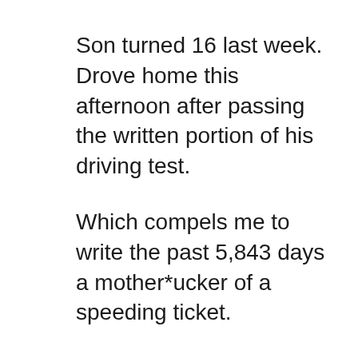Son turned 16 last week. Drove home this afternoon after passing the written portion of his driving test.
Which compels me to write the past 5,843 days a mother*ucker of a speeding ticket.
In the involuntary peek in the rear-view such rite of passages induce, let’s just say that the boy’s relationship with locomotion over the years has been, um, colorful